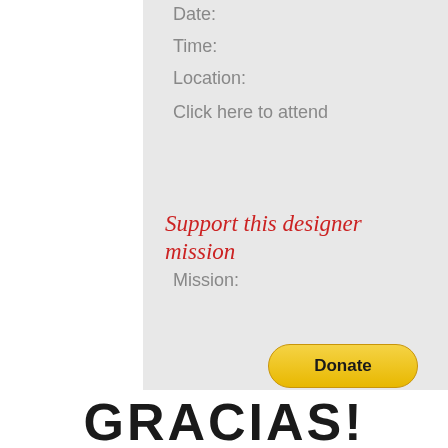Date:
Time:
Location:
Click here to attend
Support this designer mission
Mission:
[Figure (other): Yellow PayPal Donate button with rounded corners]
GRACIAS!